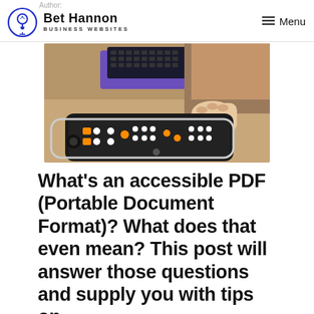Author: Bet Hannon Business Websites | Menu
[Figure (photo): Person's hand using a braille display device, with a keyboard and computer setup visible in the background on a wooden desk]
What’s an accessible PDF (Portable Document Format)? What does that even mean? This post will answer those questions and supply you with tips on